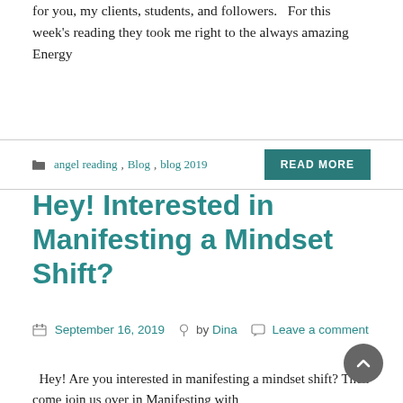for you, my clients, students, and followers.   For this week's reading they took me right to the always amazing Energy
angel reading, Blog, blog 2019
READ MORE
Hey! Interested in Manifesting a Mindset Shift?
September 16, 2019   by Dina   Leave a comment
Hey! Are you interested in manifesting a mindset shift? Then come join us over in Manifesting with